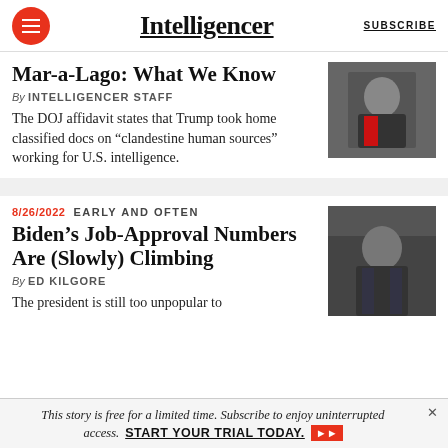Intelligencer | SUBSCRIBE
Mar-a-Lago: What We Know
By INTELLIGENCER STAFF
The DOJ affidavit states that Trump took home classified docs on “clandestine human sources” working for U.S. intelligence.
8/26/2022  EARLY AND OFTEN
Biden’s Job-Approval Numbers Are (Slowly) Climbing
By ED KILGORE
The president is still too unpopular to
This story is free for a limited time. Subscribe to enjoy uninterrupted access. START YOUR TRIAL TODAY.